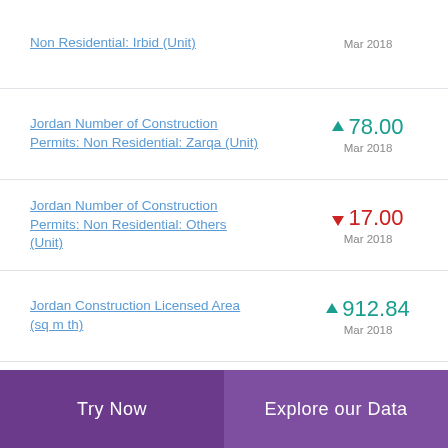Non Residential: Irbid (Unit)
Jordan Number of Construction Permits: Non Residential: Zarqa (Unit)
Jordan Number of Construction Permits: Non Residential: Others (Unit)
Jordan Construction Licensed Area (sq m th)
Try Now   Explore our Data